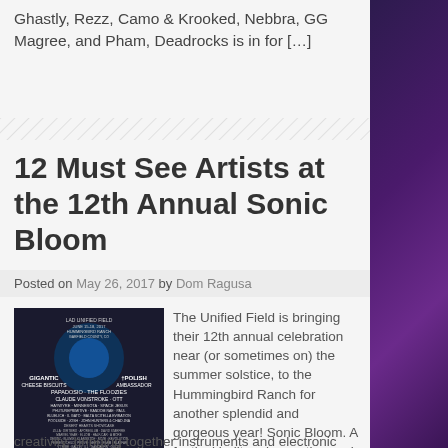Ghastly, Rezz, Camo & Krooked, Nebbra, GG Magree, and Pham, Deadrocks is in for […]
[Figure (illustration): Diagonal hatch pattern divider]
12 Must See Artists at the 12th Annual Sonic Bloom
Posted on May 26, 2017 by Dom Ragusa
[Figure (photo): Sonic Bloom festival poster showing lineup at Hummingbird Ranch, June 15-18, 2017]
The Unified Field is bringing their 12th annual celebration near (or sometimes on) the summer solstice, to the Hummingbird Ranch for another splendid and gorgeous year! Sonic Bloom. A festival built on innovation and creativity, bringing together instruments and electronic